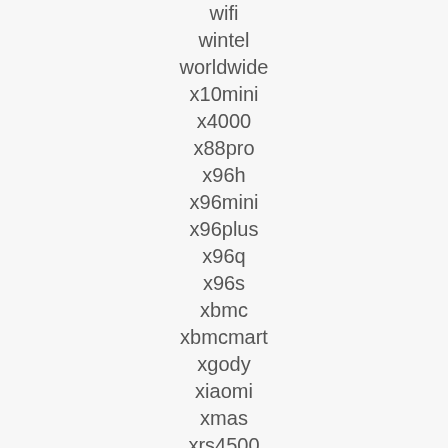wifi
wintel
worldwide
x10mini
x4000
x88pro
x96h
x96mini
x96plus
x96q
x96s
xbmc
xbmcmart
xgody
xiaomi
xmas
xrs4500
years
yili
youtube
yundoo